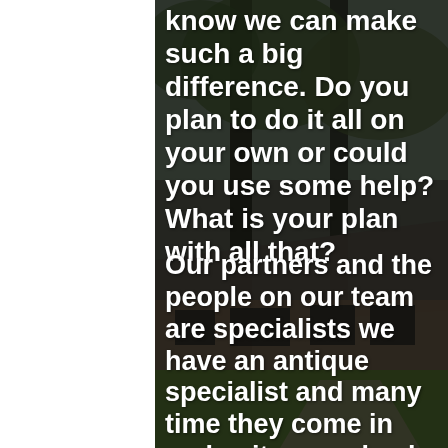[Figure (photo): Photograph of a suburban ranch-style house with tall trees in the front yard and a green lawn, with a darkened overlay. A white vertical bar occupies the left side of the image.]
know we can make such a big difference. Do you plan to do it all on your own or could you use some help? What is your plan with all that?
Our partners and the people on our team are specialists we have an antique specialist and many time they come in and write one check to